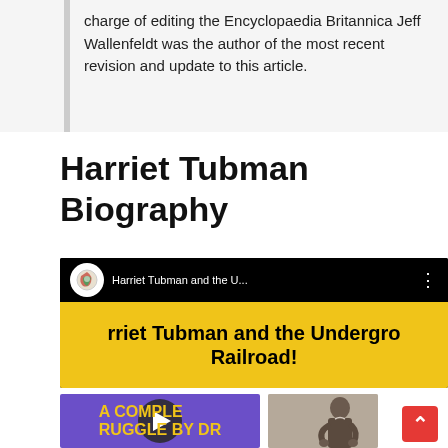charge of editing the Encyclopaedia Britannica Jeff Wallenfeldt was the author of the most recent revision and update to this article.
Harriet Tubman Biography
[Figure (screenshot): YouTube video thumbnail showing 'Harriet Tubman and the U...' with a yellow background and black bold text reading 'rriet Tubman and the Underground Railroad!']
[Figure (screenshot): Purple video thumbnail with yellow bold text 'A COMPLETE STRUGGLE BY DR' with a play button overlay]
[Figure (photo): Black and white historical photo of Harriet Tubman seated]